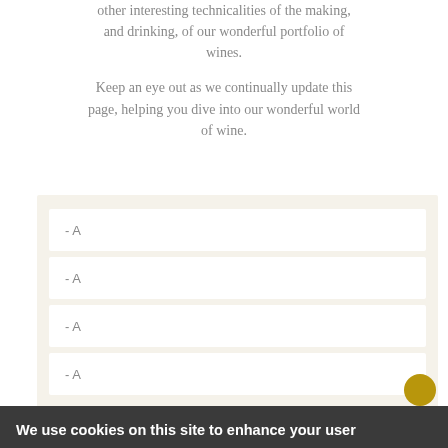other interesting technicalities of the making, and drinking, of our wonderful portfolio of wines.
Keep an eye out as we continually update this page, helping you dive into our wonderful world of wine.
- A
- A
- A
- A
We use cookies on this site to enhance your user